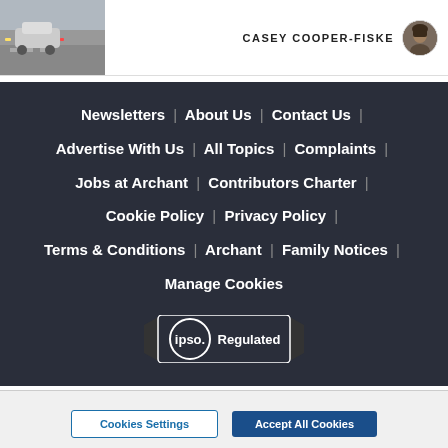[Figure (photo): Top header bar with a street/parking lot photo on the left and author name CASEY COOPER-FISKE with avatar on the right]
Newsletters | About Us | Contact Us | Advertise With Us | All Topics | Complaints | Jobs at Archant | Contributors Charter | Cookie Policy | Privacy Policy | Terms & Conditions | Archant | Family Notices | Manage Cookies
[Figure (logo): IPSO Regulated badge — circular IPSO logo with 'Regulated' label on a ribbon]
By clicking “Accept All Cookies”, you agree to the storing of cookies on your device to enhance site navigation, analyze site usage, and assist in our marketing efforts.
Cookies Settings
Accept All Cookies